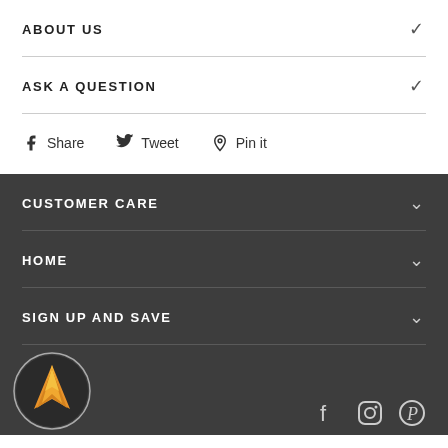ABOUT US
ASK A QUESTION
Share  Tweet  Pin it
CUSTOMER CARE
HOME
SIGN UP AND SAVE
[Figure (logo): Company logo - circular badge with orange/gold arrow/chevron shape on dark background]
[Figure (infographic): Social media icons: Facebook, Instagram, Pinterest]